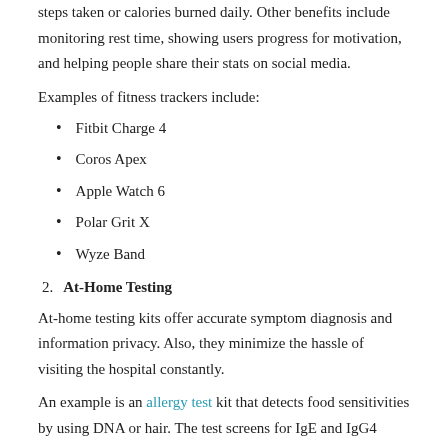steps taken or calories burned daily. Other benefits include monitoring rest time, showing users progress for motivation, and helping people share their stats on social media.
Examples of fitness trackers include:
Fitbit Charge 4
Coros Apex
Apple Watch 6
Polar Grit X
Wyze Band
2. At-Home Testing
At-home testing kits offer accurate symptom diagnosis and information privacy. Also, they minimize the hassle of visiting the hospital constantly.
An example is an allergy test kit that detects food sensitivities by using DNA or hair. The test screens for IgE and IgG4 antibodies. It is best to use undiagnosed symptoms, such as skin rashes, vomiting, itching,